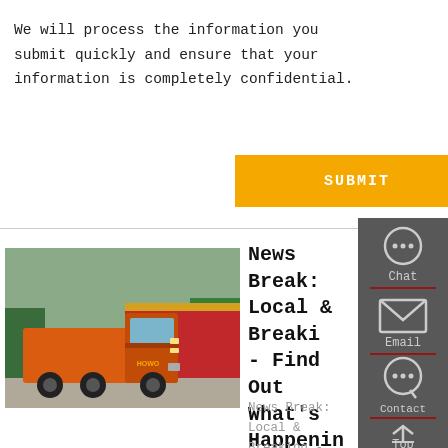We will process the information you submit quickly and ensure that your information is completely confidential.
SUBMIT
[Figure (photo): Orange HOWO heavy-duty semi truck in a parking lot with red banners and trees in background]
News Break: Local & Breaking - Find Out What's Happening
News Break: Local & Breaking - Find out
[Figure (infographic): Dark grey sidebar with Chat (headset icon), Email (envelope icon), Contact (chat bubble icon), and Top (arrow up icon) navigation buttons separated by red dividers]